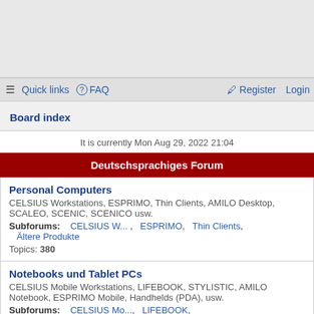[Figure (other): Top banner advertisement area, light gray background]
≡ Quick links  ? FAQ    Register  Login
Board index
It is currently Mon Aug 29, 2022 21:04
Deutschsprachiges Forum
Personal Computers
CELSIUS Workstations, ESPRIMO, Thin Clients, AMILO Desktop, SCALEO, SCENIC, SCENICO usw.
Subforums: CELSIUS W... , ESPRIMO, Thin Clients, Ältere Produkte
Topics: 380
Notebooks und Tablet PCs
CELSIUS Mobile Workstations, LIFEBOOK, STYLISTIC, AMILO Notebook, ESPRIMO Mobile, Handhelds (PDA), usw.
Subforums: CELSIUS Mo..., LIFEBOOK, STYLISTIC T... , Ältere Produkte
Topics: 841
Displays und Zubehör